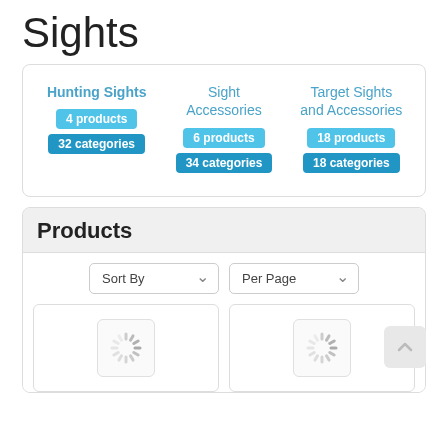Sights
Hunting Sights 4 products 32 categories | Sight Accessories 6 products 34 categories | Target Sights and Accessories 18 products 18 categories
Products
Sort By | Per Page
[Figure (screenshot): Two product cards with loading spinner icons]